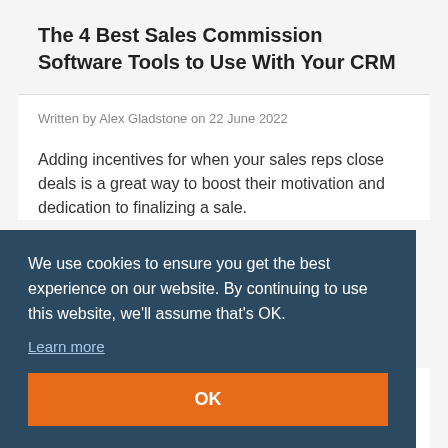The 4 Best Sales Commission Software Tools to Use With Your CRM
Written by Alex Gladstone on 22 June 2022
Adding incentives for when your sales reps close deals is a great way to boost their motivation and dedication to finalizing a sale.
We use cookies to ensure you get the best experience on our website. By continuing to use this website, we'll assume that's OK.
Learn more
OK
not
n
ng,
forms and admin that goes on behind the scenes to